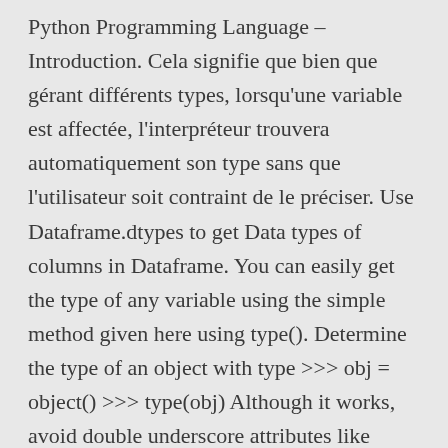Python Programming Language – Introduction. Cela signifie que bien que gérant différents types, lorsqu'une variable est affectée, l'interpréteur trouvera automatiquement son type sans que l'utilisateur soit contraint de le préciser. Use Dataframe.dtypes to get Data types of columns in Dataframe. You can easily get the type of any variable using the simple method given here using type(). Determine the type of an object with type >>> obj = object() >>> type(obj) Although it works, avoid double underscore attributes like __class__ - they're not semantically public, and, while perhaps not in this case, the builtin functions usually have better behavior. Like other languages, Python also has some basic types which are ...